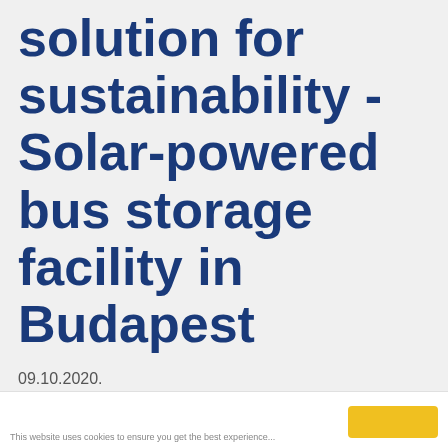solution for sustainability - Solar-powered bus storage facility in Budapest
09.10.2020.
This website uses cookies to ensure you get the best experience...